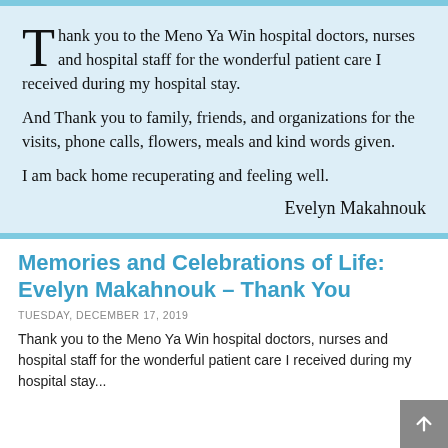Thank you to the Meno Ya Win hospital doctors, nurses and hospital staff for the wonderful patient care I received during my hospital stay.

And Thank you to family, friends, and organizations for the visits, phone calls, flowers, meals and kind words given.

I am back home recuperating and feeling well.

Evelyn Makahnouk
Memories and Celebrations of Life: Evelyn Makahnouk – Thank You
TUESDAY, DECEMBER 17, 2019
Thank you to the Meno Ya Win hospital doctors, nurses and hospital staff for the wonderful patient care I received during my hospital stay...